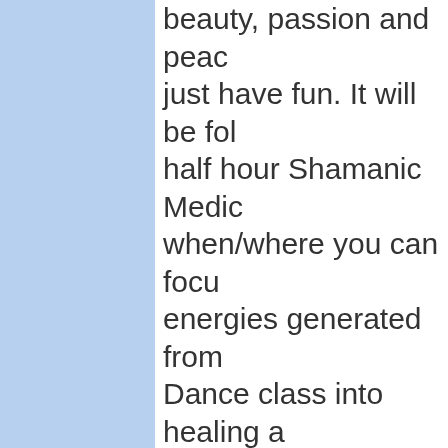beauty, passion and peace, just have fun. It will be followed by a half hour Shamanic Meditation when/where you can focus the energies generated from the Dance class into healing and visions of truth and beauty, supporting the process of Respectful Life with Mother Earth.
Most of the Birth of Venus classes (except long term training) take place at The Rockledge Building, Harrison Avenue, Suite 20, Mamaroneck, NY, or on Zoom. There's plenty of parking and it is